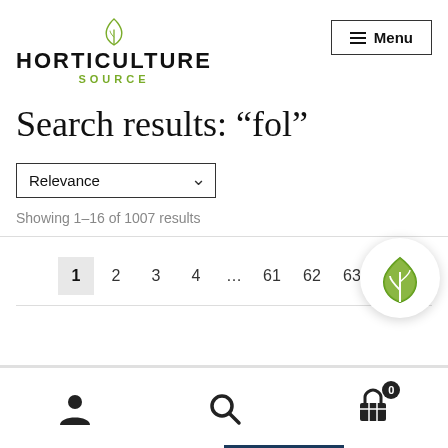[Figure (logo): Horticulture Source logo with leaf icon, bold uppercase HORTICULTURE text, and green SOURCE text below]
Search results: “fol”
Relevance (dropdown)
Showing 1–16 of 1007 results
Pagination: 1 2 3 4 ... 61 62 63 ►
[Figure (logo): Circular floating leaf icon with green leaf on white background with shadow]